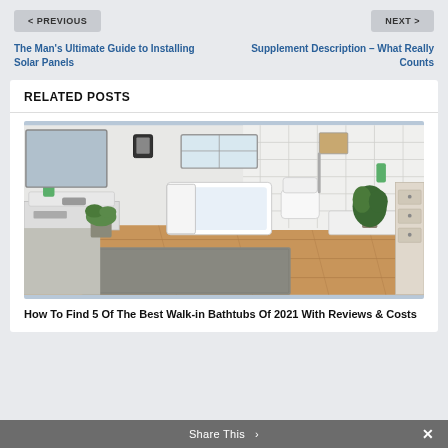< PREVIOUS
NEXT >
The Man's Ultimate Guide to Installing Solar Panels
Supplement Description – What Really Counts
RELATED POSTS
[Figure (photo): Bathroom interior with walk-in bathtub, white subway tile shower, hardwood floor, gray rug, and plants]
How To Find 5 Of The Best Walk-in Bathtubs Of 2021 With Reviews & Costs
Share This